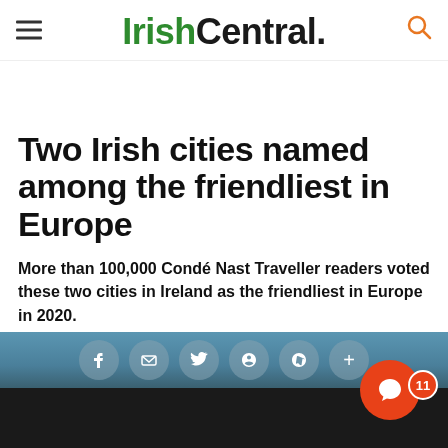IrishCentral.
Two Irish cities named among the friendliest in Europe
More than 100,000 Condé Nast Traveller readers voted these two cities in Ireland as the friendliest in Europe in 2020.
Andrea M. Meek @IrishCentral Jun 13, 2022